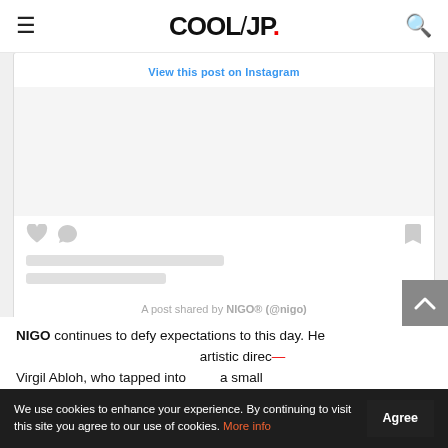COOL/JP.
[Figure (screenshot): Instagram embedded post card showing 'View this post on Instagram' link, blank image area, like/comment/bookmark icons, placeholder text lines, and attribution 'A post shared by NIGO® (@nigo)']
A post shared by NIGO® (@nigo)
NIGO continues to defy expectations to this day. He ... artistic direc... Virgil Abloh, who tapped into ... a small ...